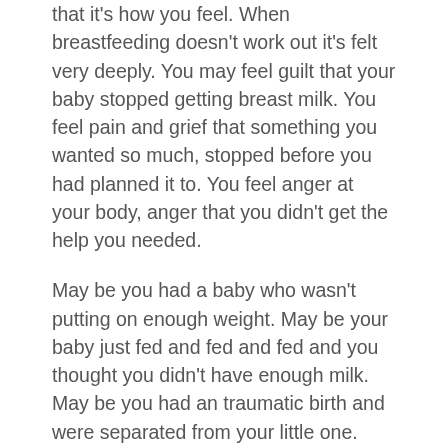that it's how you feel. When breastfeeding doesn't work out it's felt very deeply. You may feel guilt that your baby stopped getting breast milk. You feel pain and grief that something you wanted so much, stopped before you had planned it to. You feel anger at your body, anger that you didn't get the help you needed.
May be you had a baby who wasn't putting on enough weight. May be your baby just fed and fed and fed and you thought you didn't have enough milk. May be you had an traumatic birth and were separated from your little one. May be your baby seemed to hate breastfeeding. May be those around you just didn't support what you were doing. What ever the reason for the end of your breastfeeding relationship with your baby, I know that it hurts. Even if you know it was the right